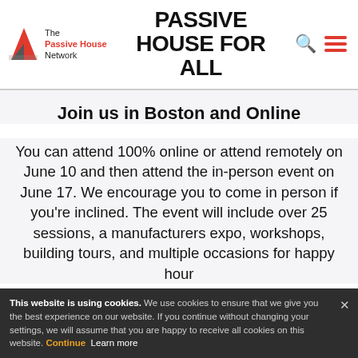The Passive House Network
PASSIVE HOUSE FOR ALL
Join us in Boston and Online
You can attend 100% online or attend remotely on June 10 and then attend the in-person event on June 17. We encourage you to come in person if you're inclined. The event will include over 25 sessions, a manufacturers expo, workshops, building tours, and multiple occasions for happy hour social networking. Meet and mingle with your fellow change-makers.
This website is using cookies. We use cookies to ensure that we give you the best experience on our website. If you continue without changing your settings, we will assume that you are happy to receive all cookies on this website. Continue  Learn more